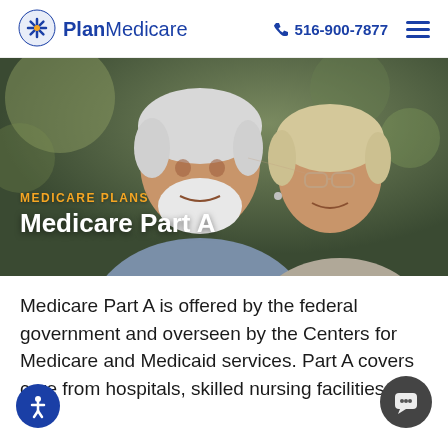PlanMedicare  516-900-7877
[Figure (photo): An elderly couple smiling and leaning together cheek-to-cheek, outside with blurred green background. Overlaid text: 'MEDICARE PLANS' in orange and 'Medicare Part A' in white bold.]
Medicare Part A is offered by the federal government and overseen by the Centers for Medicare and Medicaid services. Part A covers care from hospitals, skilled nursing facilities